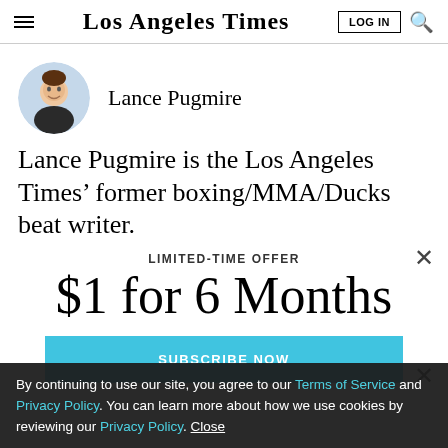Los Angeles Times
[Figure (photo): Circular headshot photo of Lance Pugmire, a man in a dark shirt smiling]
Lance Pugmire
Lance Pugmire is the Los Angeles Times’ former boxing/MMA/Ducks beat writer.
LIMITED-TIME OFFER
$1 for 6 Months
SUBSCRIBE NOW
By continuing to use our site, you agree to our Terms of Service and Privacy Policy. You can learn more about how we use cookies by reviewing our Privacy Policy. Close